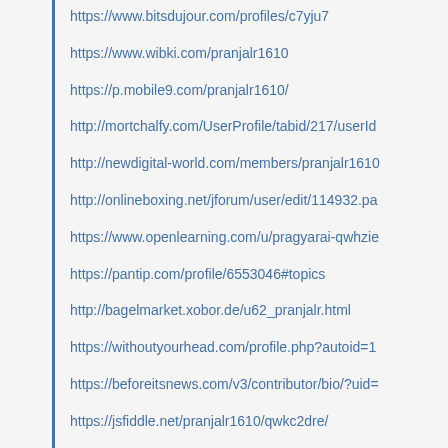https://www.bitsdujour.com/profiles/c7yju7
https://www.wibki.com/pranjalr1610
https://p.mobile9.com/pranjalr1610/
http://mortchalfy.com/UserProfile/tabid/217/userId...
http://newdigital-world.com/members/pranjalr1610...
http://onlineboxing.net/jforum/user/edit/114932.pa...
https://www.openlearning.com/u/pragyarai-qwhzie...
https://pantip.com/profile/6553046#topics
http://bagelmarket.xobor.de/u62_pranjalr.html
https://withoutyourhead.com/profile.php?autoid=1...
https://beforeitsnews.com/v3/contributor/bio/?uid=...
https://jsfiddle.net/pranjalr1610/qwkc2dre/